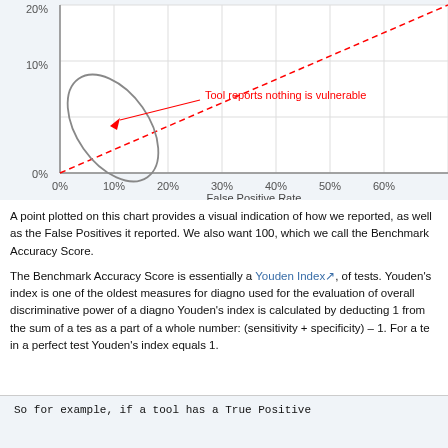[Figure (continuous-plot): ROC-style scatter plot showing False Positive Rate (x-axis, 0%–60%) vs True Positive Rate (y-axis, 0%–20%). A red dashed diagonal line runs from bottom-left to top-right. An ellipse (gray outline) encloses a cluster near (10%,6%) indicating a tool that reports nothing is vulnerable. A red arrow points to the ellipse with the label 'Tool reports nothing is vulnerable' in red.]
A point plotted on this chart provides a visual indication of how well the tool reported, as well as the False Positives it reported. We also want a score out of 100, which we call the Benchmark Accuracy Score.
The Benchmark Accuracy Score is essentially a Youden Index, a statistic for the summary of tests. Youden's index is one of the oldest measures for diagnostic tests and is used for the evaluation of overall discriminative power of a diagnostic test. Youden's index is calculated by deducting 1 from the sum of a test's sensitivity and specificity, as a part of a whole number: (sensitivity + specificity) – 1. For a test with no useful discrimination, in a perfect test Youden's index equals 1.
So for example, if a tool has a True Positive